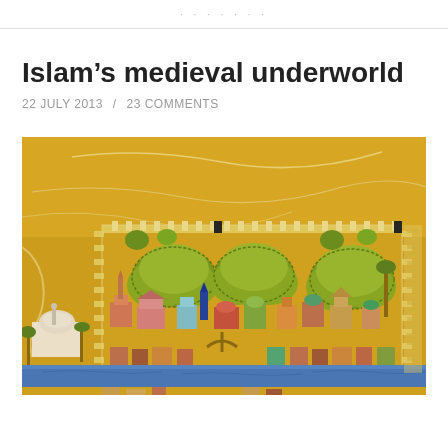Islam’s medieval underworld
22 JULY 2013  /  23 COMMENTS
[Figure (illustration): A colorful medieval Islamic manuscript-style illustration depicting a walled city with mosques, minarets, domed buildings, large stylized green trees/clouds, palm trees, and a blue river or water in the foreground, all on a golden-yellow background.]